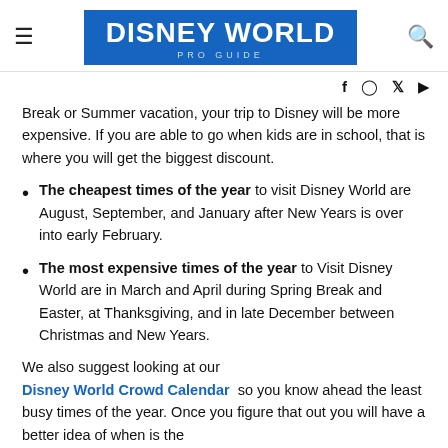DISNEY WORLD PRO GUIDE
Break or Summer vacation, your trip to Disney will be more expensive. If you are able to go when kids are in school, that is where you will get the biggest discount.
The cheapest times of the year to visit Disney World are August, September, and January after New Years is over into early February.
The most expensive times of the year to Visit Disney World are in March and April during Spring Break and Easter, at Thanksgiving, and in late December between Christmas and New Years.
We also suggest looking at our Disney World Crowd Calendar so you know ahead the least busy times of the year. Once you figure that out you will have a better idea of when is the